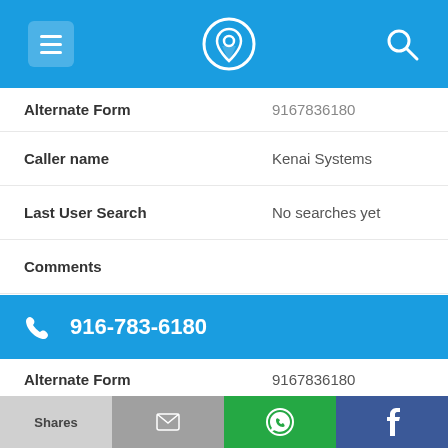App header bar with menu, phone/location icon, and search icon
| Field | Value |
| --- | --- |
| Alternate Form | 9167836180 [partial, top cut off] |
| Caller name | Kenai Systems |
| Last User Search | No searches yet |
| Comments |  |
916-783-6180
| Field | Value |
| --- | --- |
| Alternate Form | 9167836180 |
| Caller name | Oak Grove Motor Lodge ... |
Shares | [mail] | [WhatsApp] | [Facebook]